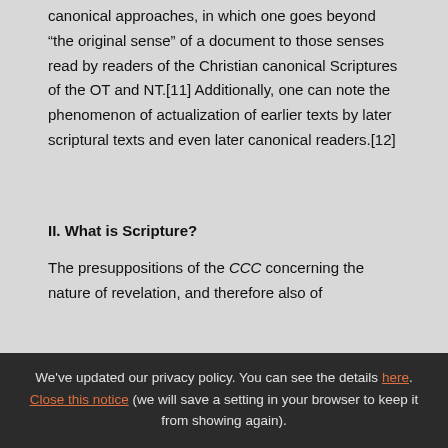canonical approaches, in which one goes beyond "the original sense" of a document to those senses read by readers of the Christian canonical Scriptures of the OT and NT.[11] Additionally, one can note the phenomenon of actualization of earlier texts by later scriptural texts and even later canonical readers.[12]
II. What is Scripture?
The presuppositions of the CCC concerning the nature of revelation, and therefore also of
We've updated our privacy policy. You can see the details here. Close this notice (we will save a setting in your browser to keep it from showing again).